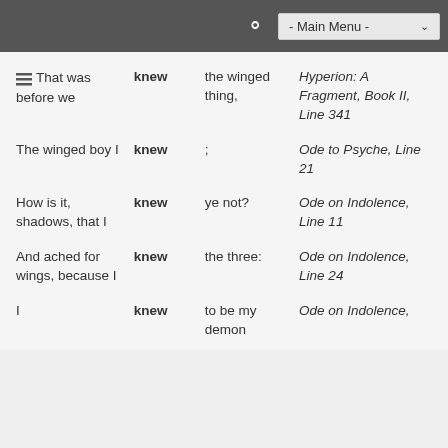- Main Menu -
| Context | Keyword | Context | Source |
| --- | --- | --- | --- |
| That was before we | knew | the winged thing, | Hyperion: A Fragment, Book II, Line 341 |
| The winged boy I | knew | ; | Ode to Psyche, Line 21 |
| How is it, shadows, that I | knew | ye not? | Ode on Indolence, Line 11 |
| And ached for wings, because I | knew | the three: | Ode on Indolence, Line 24 |
| I | knew | to be my demon | Ode on Indolence, |